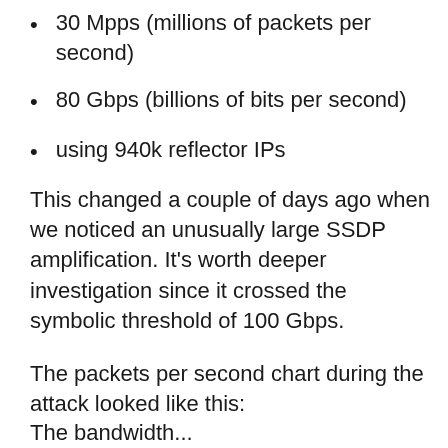30 Mpps (millions of packets per second)
80 Gbps (billions of bits per second)
using 940k reflector IPs
This changed a couple of days ago when we noticed an unusually large SSDP amplification. It's worth deeper investigation since it crossed the symbolic threshold of 100 Gbps.
The packets per second chart during the attack looked like this:
The bandwidth...